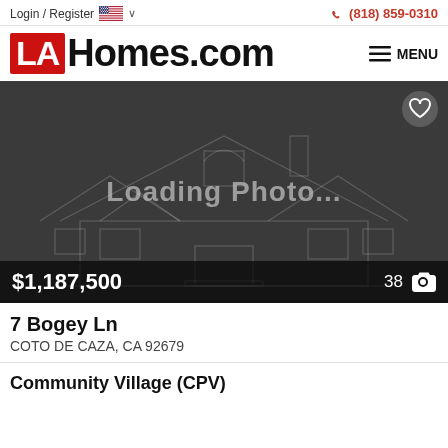Login / Register  (818) 859-0310
LAHomes.com
[Figure (screenshot): Property listing photo placeholder showing a wireframe house outline with 'Loading Photo...' text on dark background. Price overlay shows $1,187,500 and photo count 38.]
7 Bogey Ln
COTO DE CAZA, CA 92679
Community Village (CPV)